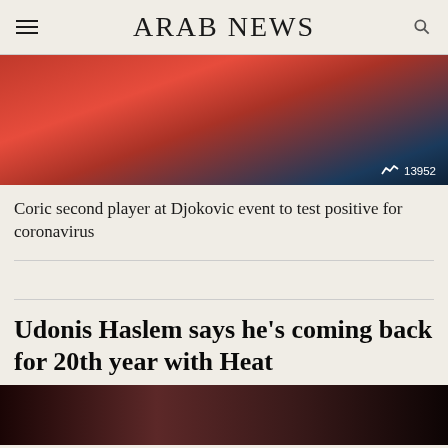ARAB NEWS
[Figure (photo): Tennis player in a red jersey with Croatian national team logo, photographed against a dark blurred background. View count badge showing 13952 in bottom right corner.]
Coric second player at Djokovic event to test positive for coronavirus
Udonis Haslem says he’s coming back for 20th year with Heat
[Figure (photo): Bottom portion of an image, dark red/maroon tones, partial view of a sports scene.]